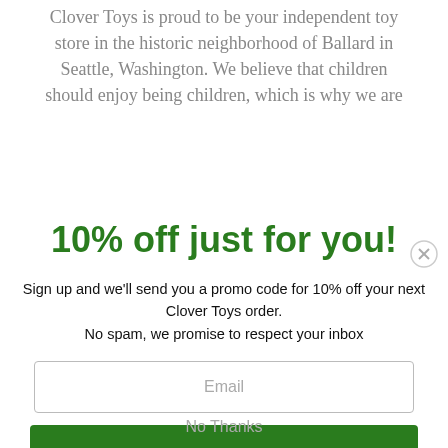Clover Toys is proud to be your independent toy store in the historic neighborhood of Ballard in Seattle, Washington. We believe that children should enjoy being children, which is why we are
10% off just for you!
Sign up and we'll send you a promo code for 10% off your next Clover Toys order.
No spam, we promise to respect your inbox
Email
Sign me up
No Thanks